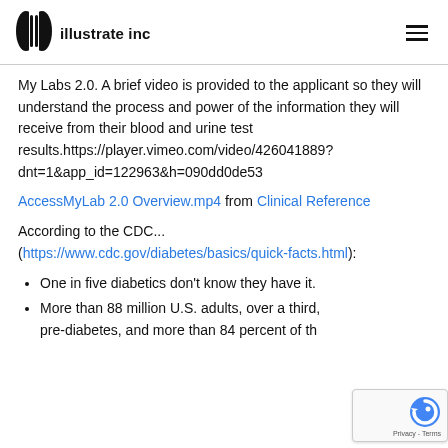illustrate inc
My Labs 2.0. A brief video is provided to the applicant so they will understand the process and power of the information they will receive from their blood and urine test results.https://player.vimeo.com/video/426041889?dnt=1&app_id=122963&h=090dd0de53
AccessMyLab 2.0 Overview.mp4 from Clinical Reference
According to the CDC... (https://www.cdc.gov/diabetes/basics/quick-facts.html):
One in five diabetics don’t know they have it.
More than 88 million U.S. adults, over a third, pre-diabetes, and more than 84 percent of th